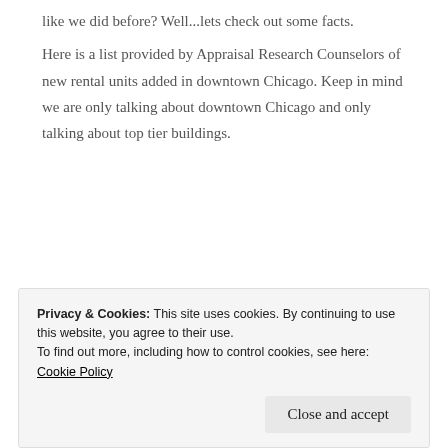like we did before? Well...lets check out some facts.
Here is a list provided by Appraisal Research Counselors of new rental units added in downtown Chicago. Keep in mind we are only talking about downtown Chicago and only talking about top tier buildings.
[Figure (infographic): Advertisement banner with light blue background showing text 'the go.' and 'GET THE APP' with a WordPress icon on the right.]
Privacy & Cookies: This site uses cookies. By continuing to use this website, you agree to their use. To find out more, including how to control cookies, see here: Cookie Policy
Close and accept